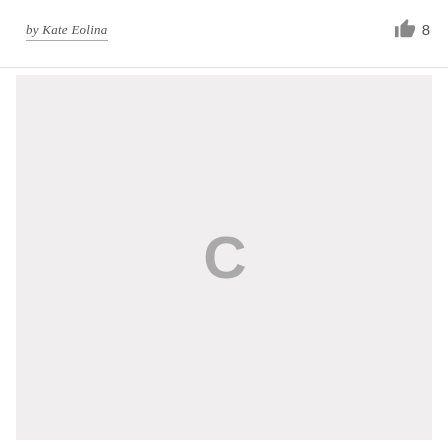by Kate Eolina
[Figure (other): Loading spinner placeholder area showing a large grey 'C' letter in the center of a light grey rectangular image area, indicating content is loading.]